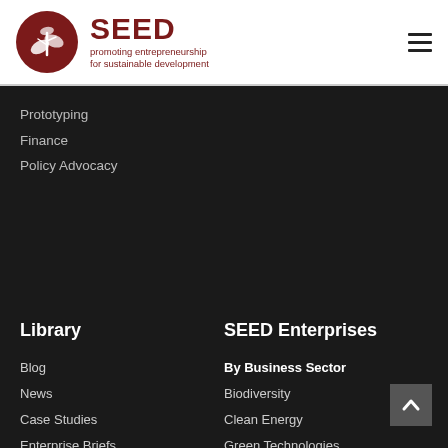[Figure (logo): SEED logo: dark red circle with plant/sprout illustration, and text 'SEED promoting entrepreneurship for sustainable development']
Prototyping
Finance
Policy Advocacy
Library
Blog
News
Case Studies
Enterprise Briefs
Policy Briefs
SEED Enterprises
By Business Sector
Biodiversity
Clean Energy
Green Technologies
Sustainable Agriculture